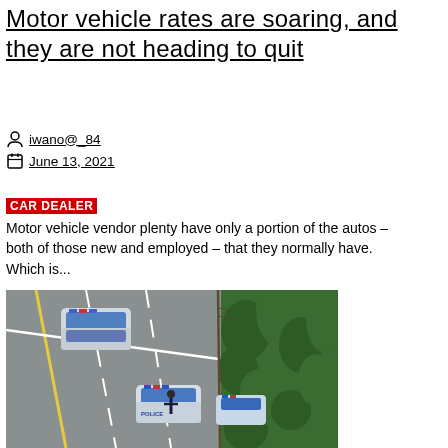Motor vehicle rates are soaring, and they are not heading to quit
iwano@_84
June 13, 2021
CAR DEALER
Motor vehicle vendor plenty have only a portion of the autos – both of those new and employed – that they normally have. Which is...
[Figure (photo): Aerial view of a road with police cars and officers on the scene, with trees visible on the right side of the image.]